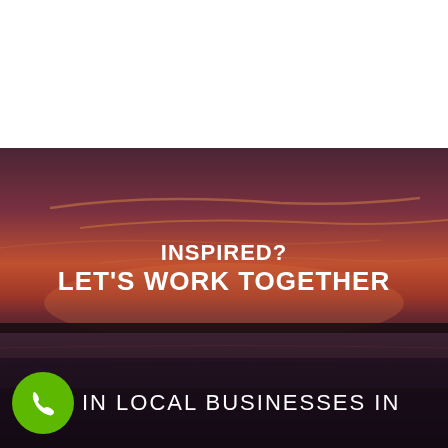[Figure (photo): Sunset landscape photograph showing a dramatic orange-red sky over a dark waterfront with silhouetted treeline in the background]
INSPIRED?
LET'S WORK TOGETHER
IN LOCAL BUSINESSES IN
WARRNAMBOOL